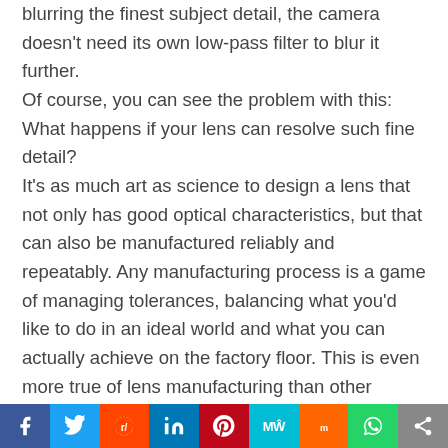blurring the finest subject detail, the camera doesn't need its own low-pass filter to blur it further. Of course, you can see the problem with this: What happens if your lens can resolve such fine detail? It's as much art as science to design a lens that not only has good optical characteristics, but that can also be manufactured reliably and repeatably. Any manufacturing process is a game of managing tolerances, balancing what you'd like to do in an ideal world and what you can actually achieve on the factory floor. This is even more true of lens manufacturing than other types. One way lens designers hedge their bets is to design lenses such that there isn't a single point of absolute best focus, but rather a range over which the focus is more or less the same. An ideal depth of field curve for a textbook-perfect
f  Twitter  Reddit  in  Pinterest  MW  mix  WhatsApp  Share